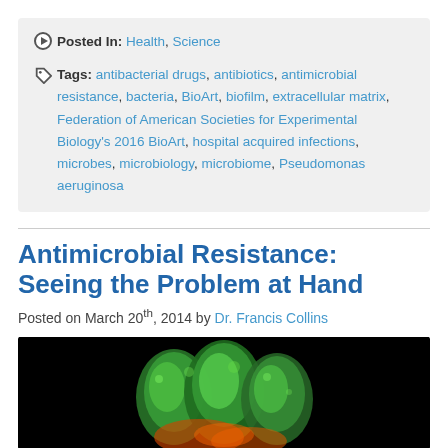Posted In: Health, Science
Tags: antibacterial drugs, antibiotics, antimicrobial resistance, bacteria, BioArt, biofilm, extracellular matrix, Federation of American Societies for Experimental Biology's 2016 BioArt, hospital acquired infections, microbes, microbiology, microbiome, Pseudomonas aeruginosa
Antimicrobial Resistance: Seeing the Problem at Hand
Posted on March 20th, 2014 by Dr. Francis Collins
[Figure (photo): Microscopy image on black background showing green and orange/red colored bacterial or cellular structures resembling fingers or rounded lobes, likely a biofilm or bacterial colony under fluorescence microscopy.]